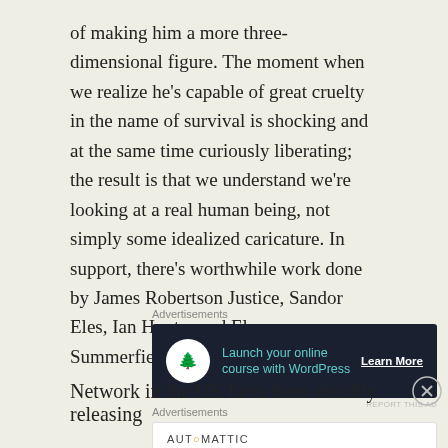of making him a more three-dimensional figure. The moment when we realize he's capable of great cruelty in the name of survival is shocking and at the same time curiously liberating; the result is that we understand we're looking at a real human being, not simply some idealized caricature. In support, there's worthwhile work done by James Robertson Justice, Sandor Eles, Ian Hunter and Eleanor Summerfield among others.
[Figure (other): Advertisement banner: dark navy background with tree icon circle, teal text 'Launch your online course with WordPress', white underlined 'Learn More' button]
Network in the UK have been steadily releasing
[Figure (other): Advertisement banner: white background with Automattic logo and tagline 'Build a better web and a better world.']